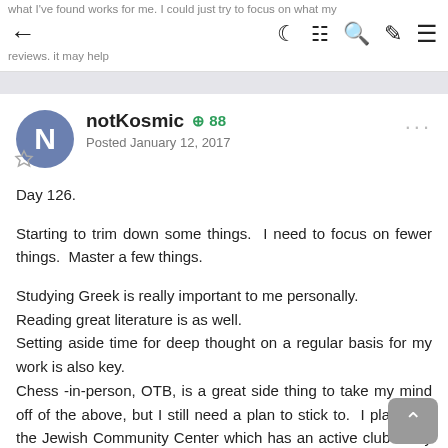what I've found works for me. I could just try to focus on what my reviews. it may help
notKosmic +88 Posted January 12, 2017
Day 126.

Starting to trim down some things. I need to focus on fewer things. Master a few things.

Studying Greek is really important to me personally.
Reading great literature is as well.
Setting aside time for deep thought on a regular basis for my work is also key.
Chess -in-person, OTB, is a great side thing to take my mind off of the above, but I still need a plan to stick to. I played at the Jewish Community Center which has an active club every Wednesday night. I met a few good guys and played some great slow games. I look forward to playing more regularly there and